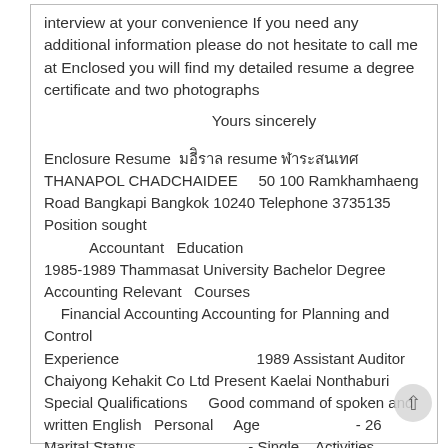interview at your convenience If you need any additional information please do not hesitate to call me at Enclosed you will find my detailed resume a degree certificate and two photographs
Yours sincerely
Enclosure Resume [Thai text] resume [Thai text] THANAPOL CHADCHAIDEE 50 100 Ramkhamhaeng Road Bangkapi Bangkok 10240 Telephone 3735135 Position sought Accountant Education 1985-1989 Thammasat University Bachelor Degree Accounting Relevant Courses Financial Accounting Accounting for Planning and Control Experience 1989 Assistant Auditor Chaiyong Kehakit Co Ltd Present Kaelai Nonthaburi Special Qualifications Good command of spoken and written English Personal Age - 26 Marital Status - Single Activities - Swimming Sewing and